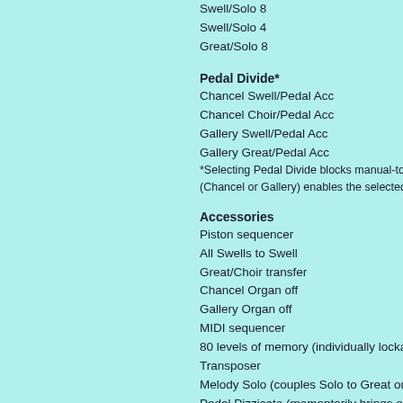Swell/Solo 8
Swell/Solo 4
Great/Solo 8
Pedal Divide*
Chancel Swell/Pedal Acc
Chancel Choir/Pedal Acc
Gallery Swell/Pedal Acc
Gallery Great/Pedal Acc
*Selecting Pedal Divide blocks manual-to-pedal
(Chancel or Gallery) enables the selected divisio
Accessories
Piston sequencer
All Swells to Swell
Great/Choir transfer
Chancel Organ off
Gallery Organ off
MIDI sequencer
80 levels of memory (individually lockable)
Transposer
Melody Solo (couples Solo to Great on top note
Pedal Pizzicato (momentarily brings on Chancel
Auto Pedal (when playing on Great, plays pedal
General Cancel
Chancel Cancel
Gallery Cancel
Division cancellers